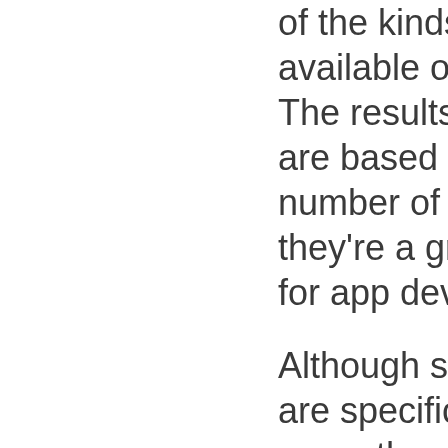of the kinds of apps available on the market. The results of the study are based on a large number of sources, and they're a great resource for app developers.
Although some apps are specific to a narrow use, others are general. For example, food delivery apps are designed to deliver food, and they cannot be used for grocery shopping or restaurant reservations. These apps are not available for every purpose. In addition to these,